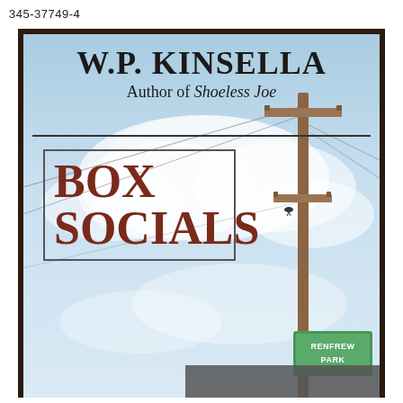345-37749-4
[Figure (photo): Book cover of 'Box Socials' by W.P. Kinsella, Author of Shoeless Joe. Cover shows a pale blue sky with clouds, a wooden telephone/utility pole with wires, and a green street sign reading 'RENFREW PARK' in the lower right. The title 'BOX SOCIALS' appears in large dark red serif letters inside a rectangular border on the left side. The author name 'W.P. KINSELLA' is at the top in large black serif letters, followed by 'Author of Shoeless Joe' in smaller italic text, separated by a horizontal line.]